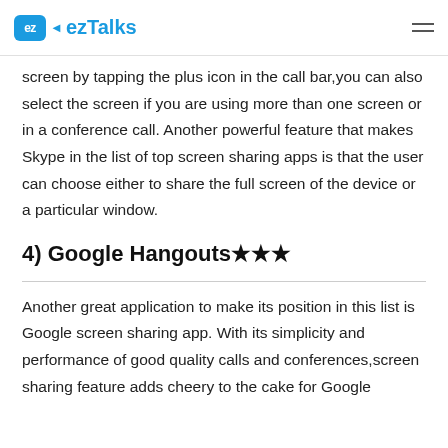ez ezTalks
screen by tapping the plus icon in the call bar,you can also select the screen if you are using more than one screen or in a conference call. Another powerful feature that makes Skype in the list of top screen sharing apps is that the user can choose either to share the full screen of the device or a particular window.
4) Google Hangouts★★★
Another great application to make its position in this list is Google screen sharing app. With its simplicity and performance of good quality calls and conferences,screen sharing feature adds cheery to the cake for Google